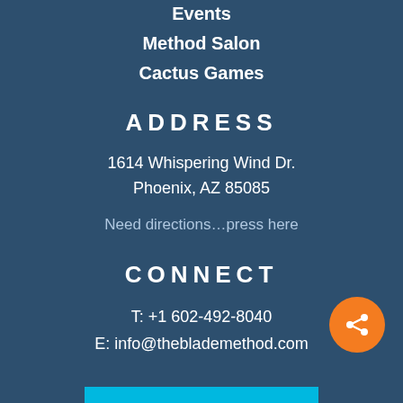Events
Method Salon
Cactus Games
ADDRESS
1614 Whispering Wind Dr.
Phoenix, AZ 85085
Need directions…press here
CONNECT
T: +1 602-492-8040
E: info@theblademethod.com
[Figure (other): Orange circular share button with share icon]
[Figure (other): Cyan/turquoise horizontal bar at bottom of page]